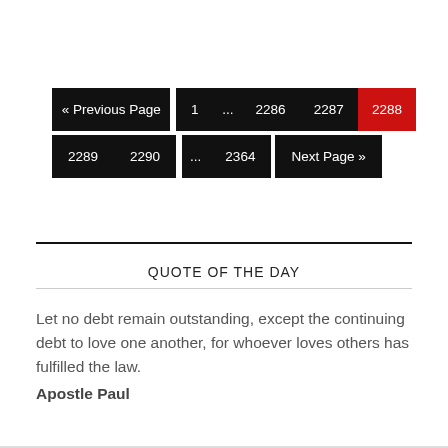[Figure (other): Pagination navigation showing: « Previous Page, 1, ..., 2286, 2287, 2288 (active/red), 2289, 2290, ..., 2364, Next Page »]
QUOTE OF THE DAY
Let no debt remain outstanding, except the continuing debt to love one another, for whoever loves others has fulfilled the law.
Apostle Paul